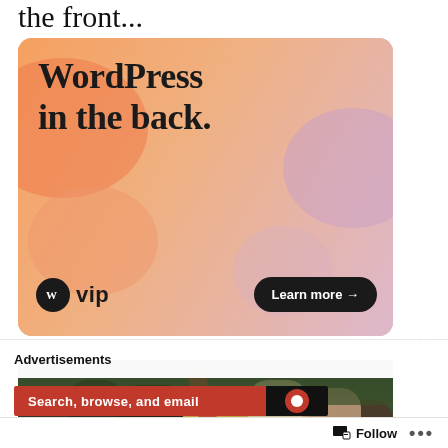the front...
[Figure (illustration): WordPress VIP advertisement card with orange-pink gradient background showing 'WordPress in the back.' headline, WordPress VIP logo, and 'Learn more →' button]
REPORT THIS AD
[Figure (photo): Movie still showing group of young people outdoors, including a girl in a yellow plaid outfit and a person with hand raised, appears to be from the film Clueless]
Advertisements
[Figure (screenshot): Bottom advertisement strip with red background showing 'Search, browse, and email' text and dark icon area with DuckDuckGo logo]
Follow